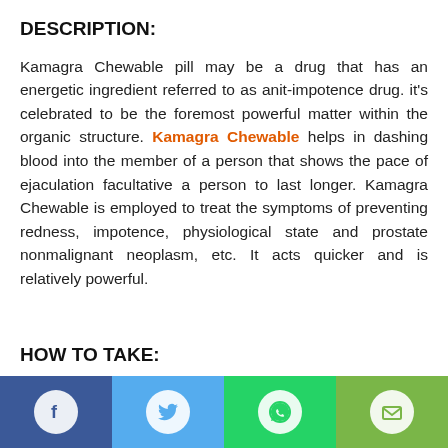DESCRIPTION:
Kamagra Chewable pill may be a drug that has an energetic ingredient referred to as anit-impotence drug. it's celebrated to be the foremost powerful matter within the organic structure. Kamagra Chewable helps in dashing blood into the member of a person that shows the pace of ejaculation facultative a person to last longer. Kamagra Chewable is employed to treat the symptoms of preventing redness, impotence, physiological state and prostate nonmalignant neoplasm, etc. It acts quicker and is relatively powerful.
HOW TO TAKE:
[Figure (infographic): Footer bar with four social media share icons: Facebook (dark blue), Twitter (light blue), WhatsApp (green), Email (light green)]